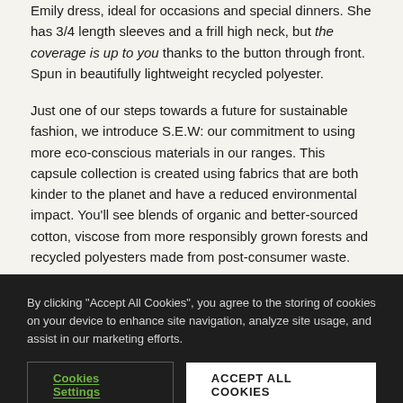Emily dress, ideal for occasions and special dinners. She has 3/4 length sleeves and a frill high neck, but the coverage is up to you thanks to the button through front. Spun in beautifully lightweight recycled polyester.
Just one of our steps towards a future for sustainable fashion, we introduce S.E.W: our commitment to using more eco-conscious materials in our ranges. This capsule collection is created using fabrics that are both kinder to the planet and have a reduced environmental impact. You'll see blends of organic and better-sourced cotton, viscose from more responsibly grown forests and recycled polyesters made from post-consumer waste.
Red
By clicking "Accept All Cookies", you agree to the storing of cookies on your device to enhance site navigation, analyze site usage, and assist in our marketing efforts.
Cookies Settings
ACCEPT ALL COOKIES